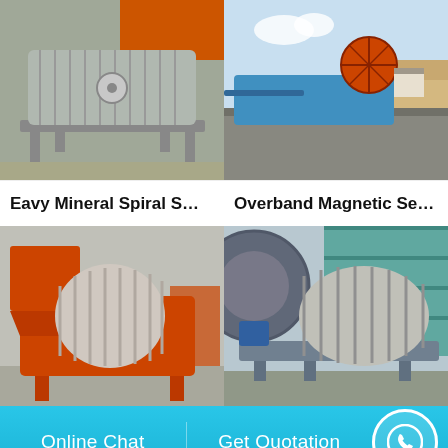[Figure (photo): Heavy mineral spiral separator machine, light gray/silver industrial equipment on a frame, indoors against orange background]
[Figure (photo): Overband magnetic separator, large blue industrial machine outdoors with sand pile and blue sky in background]
Eavy Mineral Spiral S…
Overband Magnetic Se…
[Figure (photo): Orange painted heavy magnetic separator machine outdoors on concrete]
[Figure (photo): Blue and gray magnetic separator machine indoors in industrial hall]
Online Chat
Get Quotation